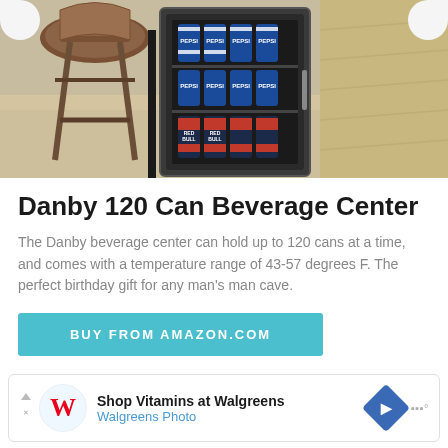[Figure (photo): A Danby beverage center refrigerator with glass door showing cans of Pepsi and Red Bull, placed next to a wooden barstool on a carpeted floor.]
Danby 120 Can Beverage Center
The Danby beverage center can hold up to 120 cans at a time, and comes with a temperature range of 43-57 degrees F. The perfect birthday gift for any man's man cave.
BUY FROM AMAZON.COM
[Figure (screenshot): Advertisement banner: Shop Vitamins at Walgreens - Walgreens Photo]